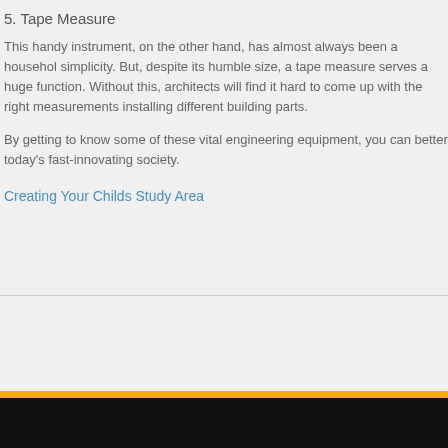5. Tape Measure
This handy instrument, on the other hand, has almost always been a household simplicity. But, despite its humble size, a tape measure serves a huge function. Without this, architects will find it hard to come up with the right measurements installing different building parts.
By getting to know some of these vital engineering equipment, you can better today's fast-innovating society.
Creating Your Childs Study Area